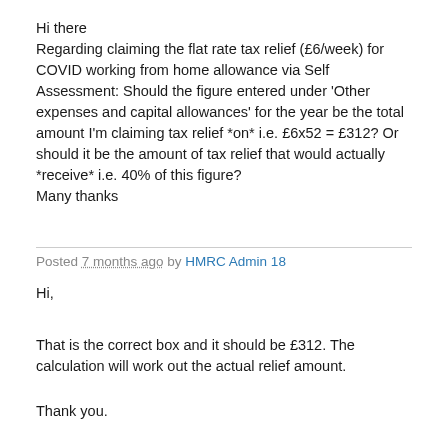Hi there
Regarding claiming the flat rate tax relief (£6/week) for COVID working from home allowance via Self Assessment: Should the figure entered under 'Other expenses and capital allowances' for the year be the total amount I'm claiming tax relief *on* i.e. £6x52 = £312? Or should it be the amount of tax relief that would actually *receive* i.e. 40% of this figure?

Many thanks
Posted 7 months ago by HMRC Admin 18
Hi,
That is the correct box and it should be £312. The calculation will work out the actual relief amount.
Thank you.